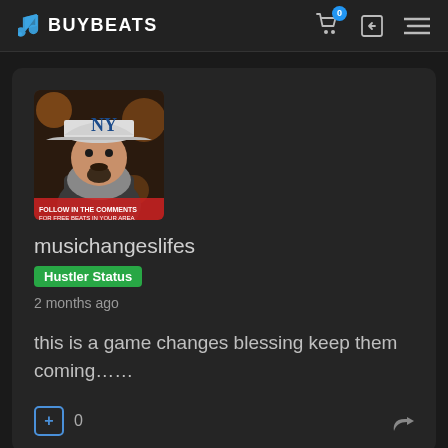BUYBEATS
[Figure (screenshot): BuyBeats website screenshot showing a user comment card. Profile photo of a person wearing a NY Yankees cap. Username: musichangeslifes, badge: Hustler Status, posted 2 months ago. Comment: 'this is a game changes blessing keep them coming......']
musichangeslifes
Hustler Status
2 months ago
this is a game changes blessing keep them coming......
0